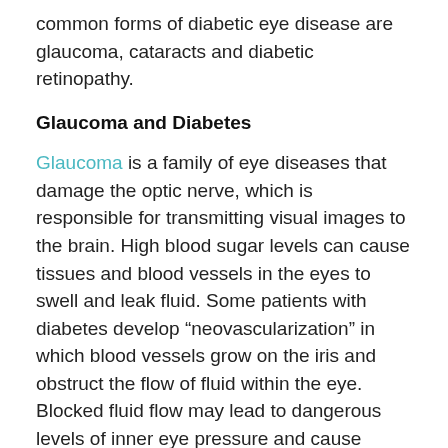common forms of diabetic eye disease are glaucoma, cataracts and diabetic retinopathy.
Glaucoma and Diabetes
Glaucoma is a family of eye diseases that damage the optic nerve, which is responsible for transmitting visual images to the brain. High blood sugar levels can cause tissues and blood vessels in the eyes to swell and leak fluid. Some patients with diabetes develop “neovascularization” in which blood vessels grow on the iris and obstruct the flow of fluid within the eye. Blocked fluid flow may lead to dangerous levels of inner eye pressure and cause glaucoma.
Cataracts and Diabetes